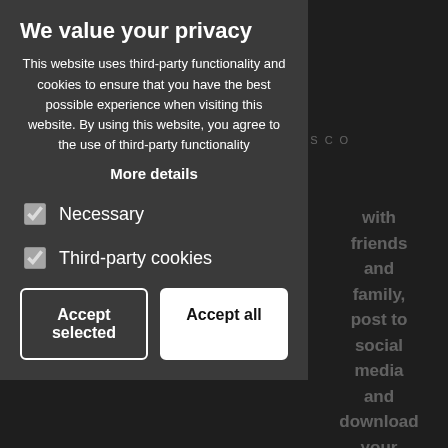[Figure (screenshot): Dimmed website background showing WDN Photo Booth & Disco logo, hamburger menu icon, and partial body text]
We value your privacy
This website uses third-party functionality and cookies to ensure that you have the best possible experience when visiting this website. By using this website, you agree to the use of third-party functionality
More details
Necessary
Third-party cookies
Accept selected
Accept all